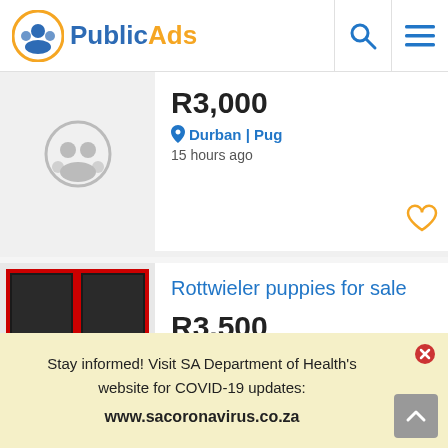PublicAds
R3,000
Durban | Pug
15 hours ago
Rottwieler puppies for sale
R3,500
Ballito | Rottweiler
15 hours ago
Stay informed! Visit SA Department of Health's website for COVID-19 updates:
www.sacoronavirus.co.za